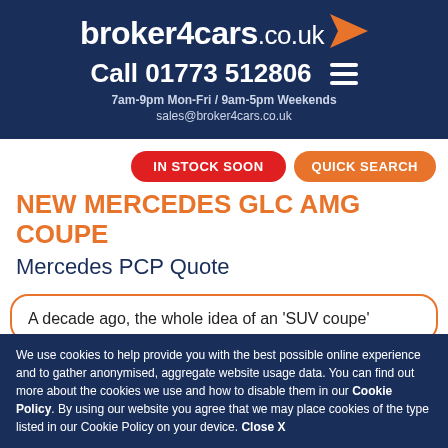broker4cars.co.uk — Call 01773 512806 — 7am-9pm Mon-Fri / 9am-5pm Weekends — sales@broker4cars.co.uk
IN STOCK SOON
QUICK SEARCH
NEW MERCEDES GLC AMG COUPE
Mercedes PCP Quote
A decade ago, the whole idea of an 'SUV coupe'
We use cookies to help provide you with the best possible online experience and to gather anonymised, aggregate website usage data. You can find out more about the cookies we use and how to disable them in our Cookie Policy. By using our website you agree that we may place cookies of the type listed in our Cookie Policy on your device. Close X